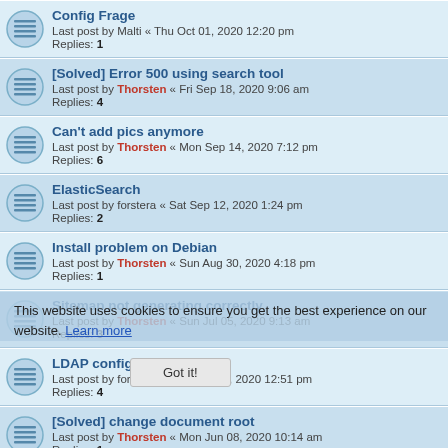Config Frage
Last post by Malti « Thu Oct 01, 2020 12:20 pm
Replies: 1
[Solved] Error 500 using search tool
Last post by Thorsten « Fri Sep 18, 2020 9:06 am
Replies: 4
Can't add pics anymore
Last post by Thorsten « Mon Sep 14, 2020 7:12 pm
Replies: 6
ElasticSearch
Last post by forstera « Sat Sep 12, 2020 1:24 pm
Replies: 2
Install problem on Debian
Last post by Thorsten « Sun Aug 30, 2020 4:18 pm
Replies: 1
Sitemap not generating correctly
Last post by Thorsten « Sun Jul 05, 2020 9:13 am
Replies: 3
LDAP configuration
Last post by forstera « Mon Jun 08, 2020 12:51 pm
Replies: 4
[Solved] change document root
Last post by Thorsten « Mon Jun 08, 2020 10:14 am
Replies: 1
[Solved] Cannot activate LDAP
Last post by forstera « Mon Jun 08, 2020 6:47 am
Replies: 2
Upgrade from 2.8.1 to 3.0.2 - database error